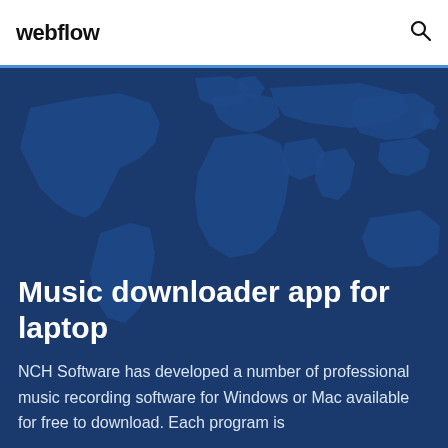webflow
Music downloader app for laptop
NCH Software has developed a number of professional music recording software for Windows or Mac available for free to download. Each program is